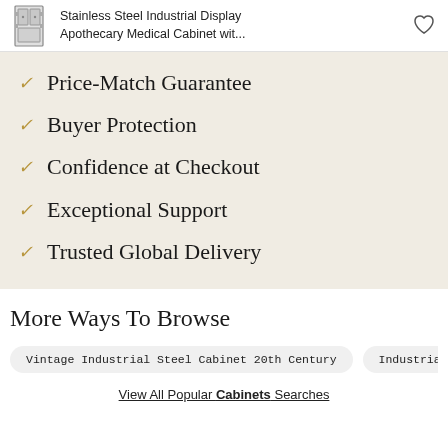Stainless Steel Industrial Display Apothecary Medical Cabinet wit...
Price-Match Guarantee
Buyer Protection
Confidence at Checkout
Exceptional Support
Trusted Global Delivery
More Ways To Browse
Vintage Industrial Steel Cabinet 20th Century
Industrial Displ
View All Popular Cabinets Searches